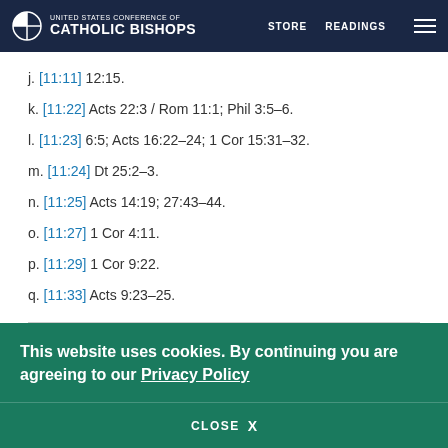UNITED STATES CONFERENCE OF CATHOLIC BISHOPS  STORE  READINGS
j. [11:11] 12:15.
k. [11:22] Acts 22:3 / Rom 11:1; Phil 3:5–6.
l. [11:23] 6:5; Acts 16:22–24; 1 Cor 15:31–32.
m. [11:24] Dt 25:2–3.
n. [11:25] Acts 14:19; 27:43–44.
o. [11:27] 1 Cor 4:11.
p. [11:29] 1 Cor 9:22.
q. [11:33] Acts 9:23–25.
This website uses cookies. By continuing you are agreeing to our Privacy Policy
CLOSE  X